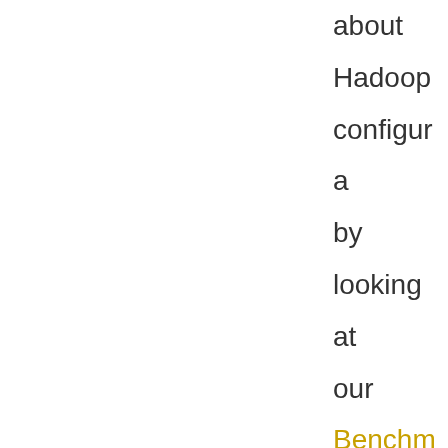about Hadoop configuration by looking at our Benchmarks and Troubleshooting wiki pages. In order to have a cleaner console output